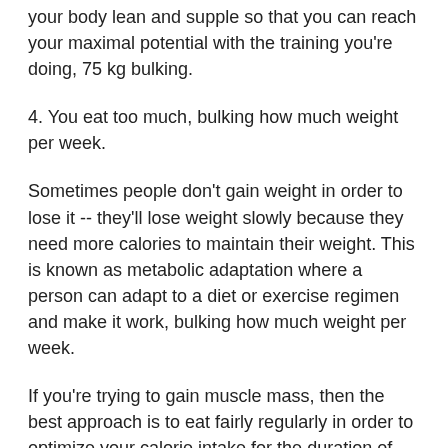your body lean and supple so that you can reach your maximal potential with the training you're doing, 75 kg bulking.
4. You eat too much, bulking how much weight per week.
Sometimes people don't gain weight in order to lose it -- they'll lose weight slowly because they need more calories to maintain their weight. This is known as metabolic adaptation where a person can adapt to a diet or exercise regimen and make it work, bulking how much weight per week.
If you're trying to gain muscle mass, then the best approach is to eat fairly regularly in order to optimize your calorie intake for the duration of your training sessions.
Most people who try bulking don't reach the same level of fat loss as those who achiev...